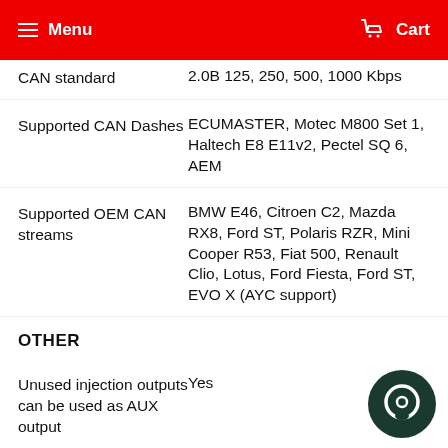Menu  Cart
CAN standard
Supported CAN Dashes
Supported OEM CAN streams
OTHER
Unused injection outputs can be used as AUX output